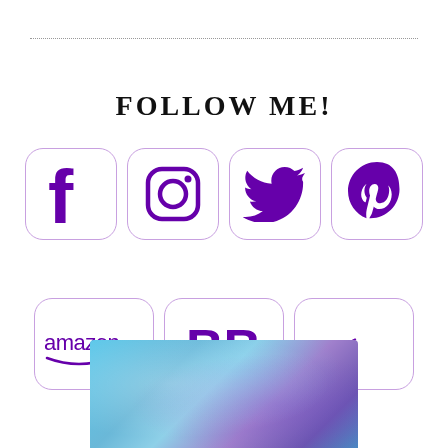FOLLOW ME!
[Figure (logo): Seven social media and platform icons in purple on white rounded-rectangle backgrounds: Facebook, Instagram, Twitter, Pinterest (top row); Amazon, BookBub (BB), Goodreads (g) (bottom row)]
[Figure (photo): Abstract teal and purple bokeh/geometric background image]